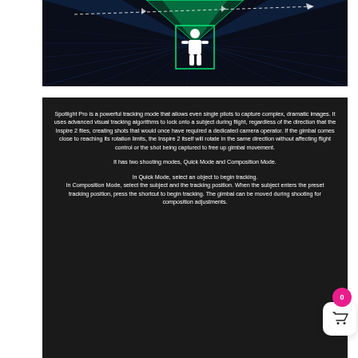[Figure (illustration): Dark background illustration showing Spotlight Pro tracking mode with a human figure silhouette in a green rectangle, surrounded by blue grid lines and green/teal scanning beams from a drone, with a dashed flight path arrow.]
Spotlight Pro is a powerful tracking mode that allows even single pilots to capture complex, dramatic images. It uses advanced visual tracking algorithms to lock onto a subject during flight, regardless of the direction that the Inspire 2 flies, creating shots that would once have required a dedicated camera operator. If the gimbal comes close to reaching its rotation limits, the Inspire 2 itself will rotate in the same direction without affecting flight control or the shot being captured to free up gimbal movement.
It has two shooting modes, Quick Mode and Composition Mode.
In Quick Mode, select an object to begin tracking.
In Composition Mode, select the subject and the tracking position. When the subject enters the preset tracking position, press the shortcut to begin tracking. The gimbal can be moved during shooting for composition adjustments.